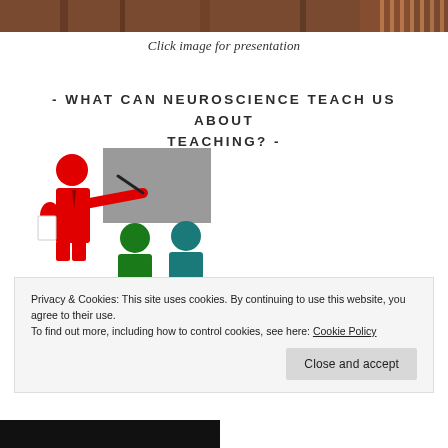[Figure (photo): Top strip of a wooden background image with vertical elements]
Click image for presentation
- WHAT CAN NEUROSCIENCE TEACH US ABOUT TEACHING? -
[Figure (illustration): Clipart illustration of a red teacher figure pointing at a gray board with a pointer, with a green and a teal student figure seated in front]
Click image for...
Privacy & Cookies: This site uses cookies. By continuing to use this website, you agree to their use.
To find out more, including how to control cookies, see here: Cookie Policy
[Figure (photo): Bottom strip of a dark image partially visible]